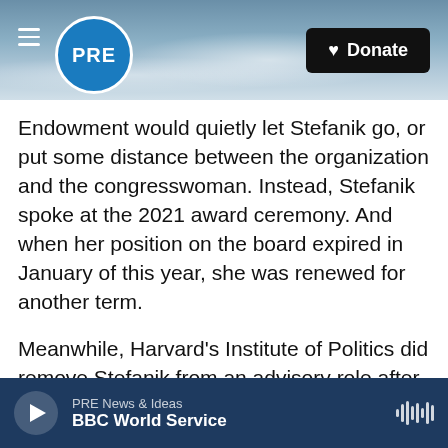PRE | Donate
Endowment would quietly let Stefanik go, or put some distance between the organization and the congresswoman. Instead, Stefanik spoke at the 2021 award ceremony. And when her position on the board expired in January of this year, she was renewed for another term.
Meanwhile, Harvard's Institute of Politics did remove Stefanik from an advisory role after Jan. 6. Stefanik accused the university of "bowing to the woke, far-left mob."
NPR reached out to Stefanik for this story, but her
PRE News & Ideas
BBC World Service